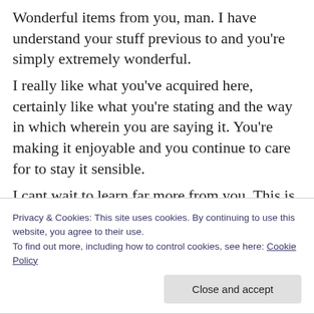Wonderful items from you, man. I have understand your stuff previous to and you're simply extremely wonderful.
I really like what you've acquired here, certainly like what you're stating and the way in which wherein you are saying it. You're making it enjoyable and you continue to care for to stay it sensible.
I cant wait to learn far more from you. This is actually a wonderful site.
Privacy & Cookies: This site uses cookies. By continuing to use this website, you agree to their use.
To find out more, including how to control cookies, see here: Cookie Policy